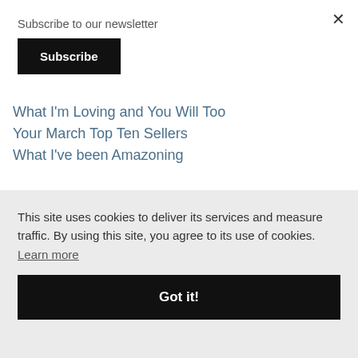×
Subscribe to our newsletter
Subscribe
What I'm Loving and You Will Too
Your March Top Ten Sellers
What I've been Amazoning
nen
This site uses cookies to deliver its services and measure traffic. By using this site, you agree to its use of cookies. Learn more
Got it!